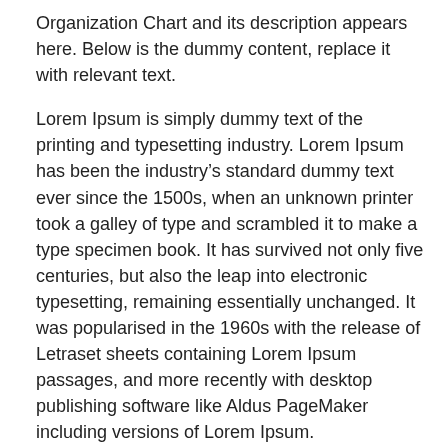Organization Chart and its description appears here. Below is the dummy content, replace it with relevant text.
Lorem Ipsum is simply dummy text of the printing and typesetting industry. Lorem Ipsum has been the industry's standard dummy text ever since the 1500s, when an unknown printer took a galley of type and scrambled it to make a type specimen book. It has survived not only five centuries, but also the leap into electronic typesetting, remaining essentially unchanged. It was popularised in the 1960s with the release of Letraset sheets containing Lorem Ipsum passages, and more recently with desktop publishing software like Aldus PageMaker including versions of Lorem Ipsum.
It is a long established fact that a reader will be distracted by the readable content of a page when looking at its layout. The point of using Lorem Ipsum is that it has a more-or-less normal distribution of letters, as opposed to using ‘Content here, content here’, making it look like readable English. Many desktop publishing packages and web page editors